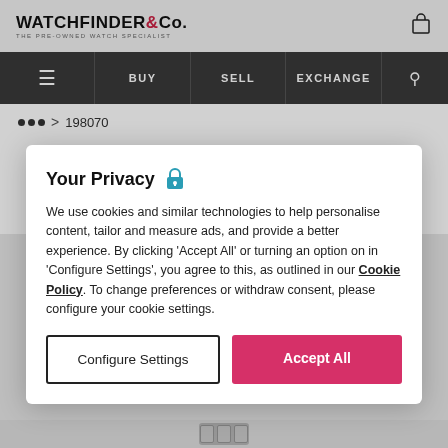WATCHFINDER & Co. THE PRE-OWNED WATCH SPECIALIST
BUY  SELL  EXCHANGE
... > 198070
Omega
De Ville Prestige
424.15.27.60.55.001
Your Privacy
We use cookies and similar technologies to help personalise content, tailor and measure ads, and provide a better experience. By clicking 'Accept All' or turning an option on in 'Configure Settings', you agree to this, as outlined in our Cookie Policy. To change preferences or withdraw consent, please configure your cookie settings.
Configure Settings
Accept All